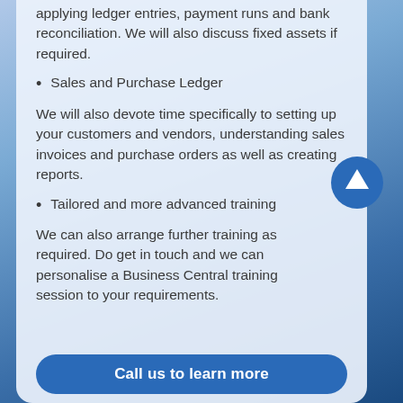applying ledger entries, payment runs and bank reconciliation. We will also discuss fixed assets if required.
Sales and Purchase Ledger
We will also devote time specifically to setting up your customers and vendors, understanding sales invoices and purchase orders as well as creating reports.
Tailored and more advanced training
We can also arrange further training as required. Do get in touch and we can personalise a Business Central training session to your requirements.
Call us to learn more